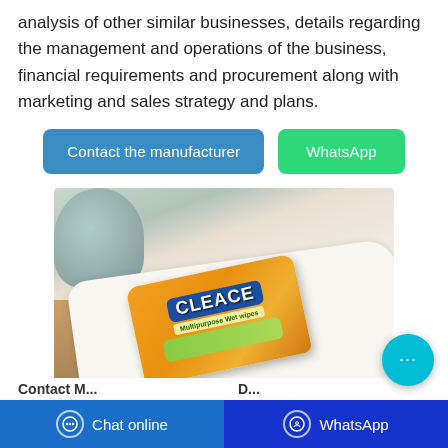analysis of other similar businesses, details regarding the management and operations of the business, financial requirements and procurement along with marketing and sales strategy and plans.
[Figure (other): Two UI buttons: a teal/blue 'Contact the manufacturer' button and a green 'WhatsApp' button]
[Figure (photo): Product photo showing an orange-packaged 'CLEACE' multipurpose wet wipes product placed on a white cloth/napkin on a wooden surface, with a teal basket in the background]
Contact M... D...
[Figure (other): Bottom navigation bar with 'Chat online' on the left (blue) and 'WhatsApp' on the right (dark blue), plus a floating cyan chat icon button]